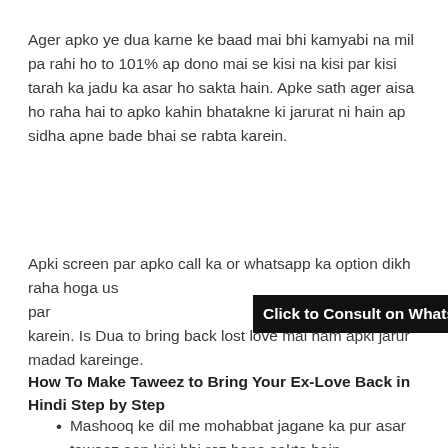Ager apko ye dua karne ke baad mai bhi kamyabi na mil pa rahi ho to 101% ap dono mai se kisi na kisi par kisi tarah ka jadu ka asar ho sakta hain. Apke sath ager aisa ho raha hai to apko kahin bhatakne ki jarurat ni hain ap sidha apne bade bhai se rabta karein.
Apki screen par apko call ka or whatsapp ka option dikh raha hoga us par [Click to Consult on Whatsapp] karein. Is Dua to bring back lost love mai ham apki jarur madad kareinge.
[Figure (other): Black banner overlay with text: Click to Consult on Whatsapp]
How To Make Taweez to Bring Your Ex-Love Back in Hindi Step by Step
Mashooq ke dil me mohabbat jagane ka pur asar taweez aap kisi bhi roz bana sakte hain